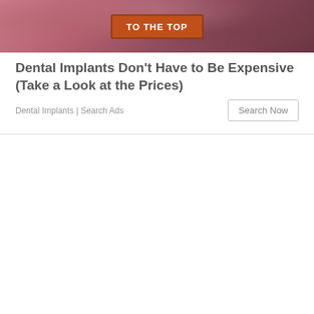[Figure (photo): Close-up photo of a mouth/lips with skin texture, with an orange 'TO THE TOP' button overlay in the center]
Dental Implants Don't Have to Be Expensive (Take a Look at the Prices)
Dental Implants | Search Ads
Search Now